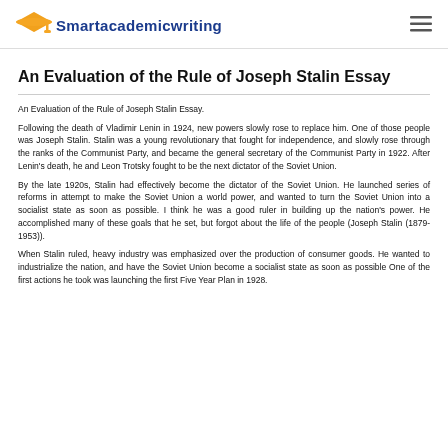Smartacademicwriting
An Evaluation of the Rule of Joseph Stalin Essay
An Evaluation of the Rule of Joseph Stalin Essay.
Following the death of Vladimir Lenin in 1924, new powers slowly rose to replace him. One of those people was Joseph Stalin. Stalin was a young revolutionary that fought for independence, and slowly rose through the ranks of the Communist Party, and became the general secretary of the Communist Party in 1922. After Lenin’s death, he and Leon Trotsky fought to be the next dictator of the Soviet Union.
By the late 1920s, Stalin had effectively become the dictator of the Soviet Union. He launched series of reforms in attempt to make the Soviet Union a world power, and wanted to turn the Soviet Union into a socialist state as soon as possible. I think he was a good ruler in building up the nation’s power. He accomplished many of these goals that he set, but forgot about the life of the people (Joseph Stalin (1879-1953)).
When Stalin ruled, heavy industry was emphasized over the production of consumer goods. He wanted to industrialize the nation, and have the Soviet Union become a socialist state as soon as possible One of the first actions he took was launching the first Five Year Plan in 1928.